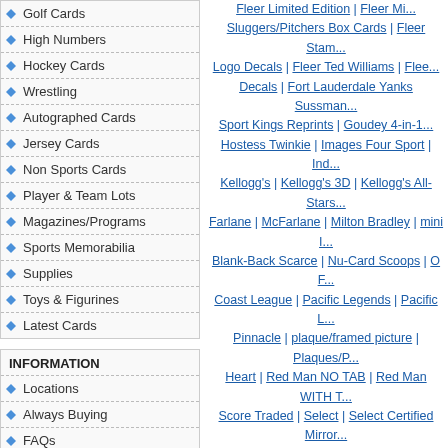Golf Cards
High Numbers
Hockey Cards
Wrestling
Autographed Cards
Jersey Cards
Non Sports Cards
Player & Team Lots
Magazines/Programs
Sports Memorabilia
Supplies
Toys & Figurines
Latest Cards
INFORMATION
Locations
Always Buying
FAQs
How Do We Grade?
Disclaimer
Fleer Limited Edition | Fleer Mi... Sluggers/Pitchers Box Cards | Fleer Stam... Logo Decals | Fleer Ted Williams | Flee... Decals | Fort Lauderdale Yanks Sussman... Sport Kings Reprints | Goudey 4-in-1... Hostess Twinkie | Images Four Sport | Ind... Kellogg's | Kellogg's 3D | Kellogg's All-Stars... Farlane | McFarlane | Milton Bradley | mini I... Blank-Back Scarce | Nu-Card Scoops | O F... Coast League | Pacific Legends | Pacific L... Pinnacle | plaque/framed picture | Plaques/P... Heart | Red Man NO TAB | Red Man WITH T... Score Traded | Select | Select Certified Mirror... SP | SP Legendary Cuts | Sportflics Rookies... Day | standard caramel | Star I... Dodgers/Angels | Tacoma Tigers TCMA |... Topps Advertising Panels | Topps Allen and... Topps Booklets | Topps Cereal | Topps Ch... Deckle Edge | Topps Embossed | Topps Fine... Topps Glossy Send-Ins | Topps Greatest Mo... Renditions | Topps Heritage Flashbacks |... Rub-Offs | Topps Mini | Topps Mini Leaders... Topps Pristine | Topps Red Backs | Top... Stamps | Topps Stand-Ups | Topps Sticker Bo... Checklist | Topps Team Checklists | Topps Tif... Transfers Inserts | Topps Tribute | Topps V... Rookies | Transogram Statues Cards | T... Upper Deck Minors | Upper Deck Sonic | Upp...
PRO CARDS BASEBALL CAR...